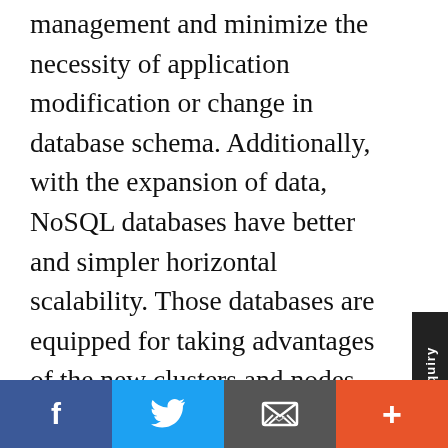management and minimize the necessity of application modification or change in database schema. Additionally, with the expansion of data, NoSQL databases have better and simpler horizontal scalability. Those databases are equipped for taking advantages of the new clusters and nodes transparently, without requiring involvement from database administrators or manual distribution of data across different nodes.[10]
Quick Enquiry
Submit your next article Peertechz Publications, also join of our fulfilled creators.
Submit a Manuscript
[Figure (infographic): Social sharing bar with Facebook, Twitter, email, and plus buttons]